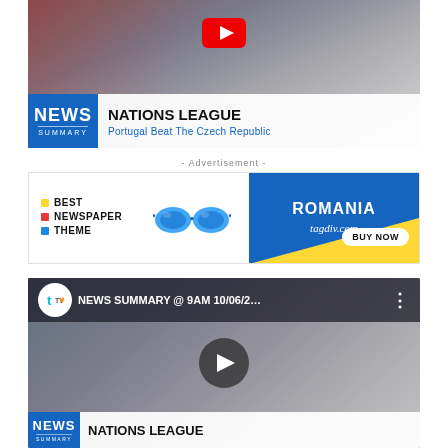[Figure (screenshot): YouTube video thumbnail showing Nations League news summary - Portugal Beat The Czech Republic, with football player in white jersey, NEWS SUMMARY badge overlay, and YouTube play button]
- Advertisement -
[Figure (screenshot): Advertisement banner for Romania newspaper theme by tagdiv.com - BEST NEWSPAPER THEME text with colored bullets, blue sunglasses image, ROMANIA tagdiv.com text on blue/yellow background with BUY NOW button]
[Figure (screenshot): YouTube video embed showing NEWS SUMMARY @ 9AM 10/06/2... with tv channel logo, football player celebrating, dark play button overlay, and NEWS NATIONS LEAGUE banner at bottom]